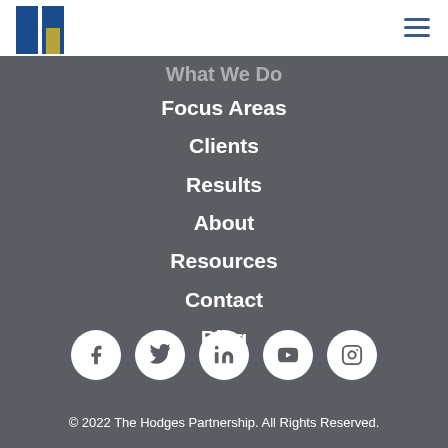[Figure (logo): The Hodges Partnership logo — blue rectangle with gold arch/doorway]
What We Do
Focus Areas
Clients
Results
About
Resources
Contact
Blog
[Figure (infographic): Social media icons in white circles: Facebook, Twitter, LinkedIn, YouTube, Instagram]
© 2022 The Hodges Partnership. All Rights Reserved.